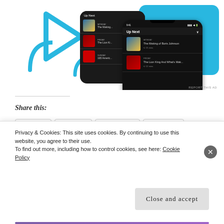[Figure (screenshot): Advertisement showing a podcast app 'Up Next' screen on two mobile phones with blue decorative shapes in background. Small 'REPORT THIS AD' text at bottom right.]
Share this:
Twitter
Tumblr
Facebook
LinkedIn
Pinterest
Print
[Figure (screenshot): Bottom strip of thumbnail images partially visible]
Privacy & Cookies: This site uses cookies. By continuing to use this website, you agree to their use.
To find out more, including how to control cookies, see here: Cookie Policy
Close and accept